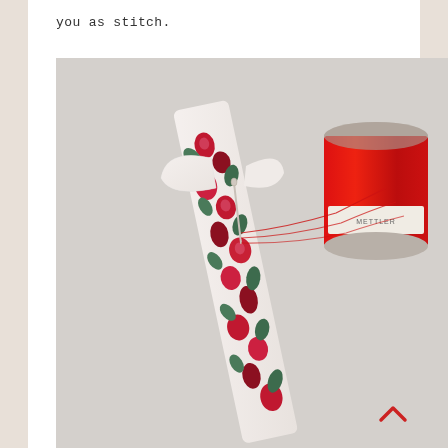you as stitch.
[Figure (photo): A floral fabric strip (white background with red and dark pink flowers and green leaves) folded/twisted with a needle and red thread going through it, alongside a red spool of thread. The spool has a white label. Red thread trails from the needle across the light gray surface.]